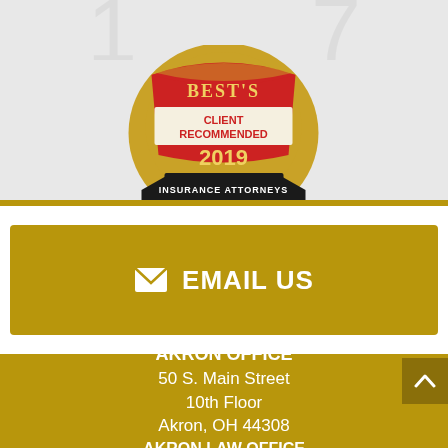[Figure (logo): Best's Client Recommended 2019 Insurance Attorneys badge/seal with red and gold design]
EMAIL US
AKRON OFFICE
50 S. Main Street
10th Floor
Akron, OH 44308
AKRON LAW OFFICE